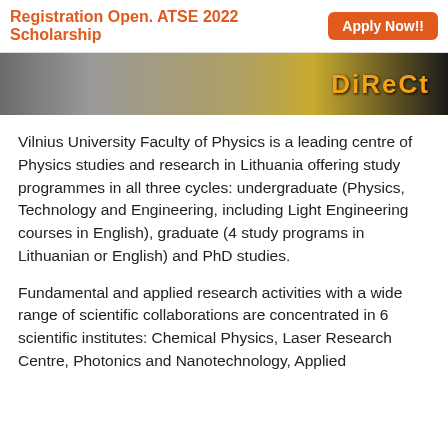Registration Open. ATSE 2022 Scholarship   Apply Now!!
[Figure (photo): Banner photograph of a crowd with a logo/text partially visible on the right side showing 'Direct' or similar branding in orange/gold on dark background.]
Vilnius University Faculty of Physics is a leading centre of Physics studies and research in Lithuania offering study programmes in all three cycles: undergraduate (Physics, Technology and Engineering, including Light Engineering courses in English), graduate (4 study programs in Lithuanian or English) and PhD studies.
Fundamental and applied research activities with a wide range of scientific collaborations are concentrated in 6 scientific institutes: Chemical Physics, Laser Research Centre, Photonics and Nanotechnology, Applied